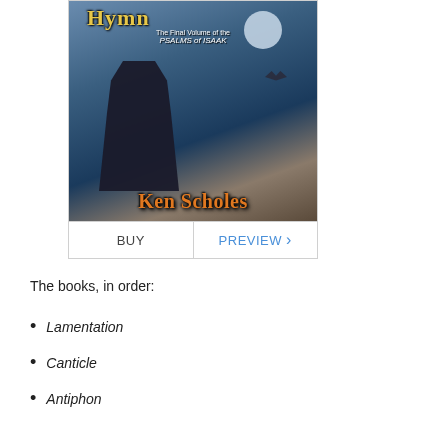[Figure (illustration): Book cover for 'Psalms of Isaak' series final volume by Ken Scholes, showing a dark-robed figure holding a staff, a bird in flight, a moon, and snowy/icy background. Author name 'Ken Scholes' in orange at bottom.]
The books, in order:
Lamentation
Canticle
Antiphon